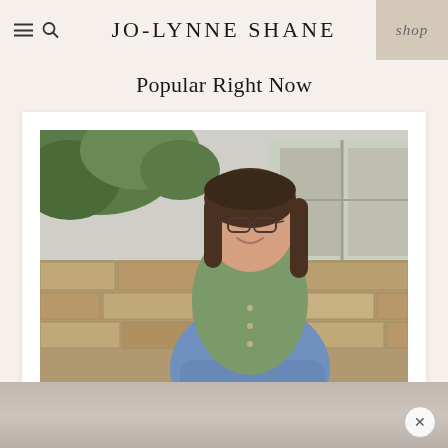JO-LYNNE SHANE
Popular Right Now
[Figure (photo): Woman with brunette hair and glasses wearing a green knit cardigan and jeans, sitting on a stone wall with green foliage in background, smiling at camera. Portrait/lifestyle photo for Jo-Lynne Shane blog.]